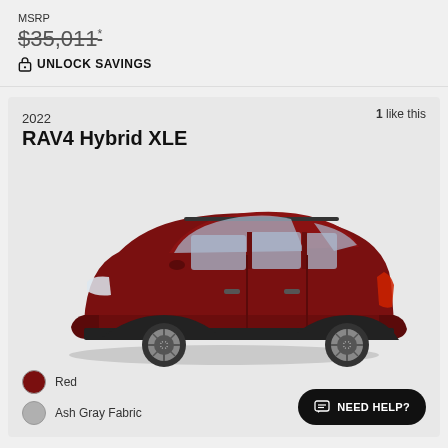MSRP
$35,011*
🔒 UNLOCK SAVINGS
1 like this
2022
RAV4 Hybrid XLE
[Figure (photo): Side profile photo of a 2022 Toyota RAV4 Hybrid XLE in dark red/maroon color on a light gray background]
Red
Ash Gray Fabric
NEED HELP?